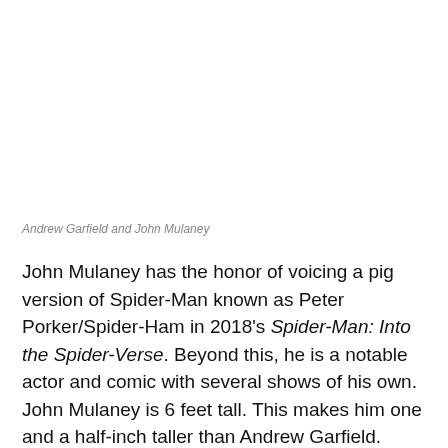Andrew Garfield and John Mulaney
John Mulaney has the honor of voicing a pig version of Spider-Man known as Peter Porker/Spider-Ham in 2018's Spider-Man: Into the Spider-Verse. Beyond this, he is a notable actor and comic with several shows of his own. John Mulaney is 6 feet tall. This makes him one and a half-inch taller than Andrew Garfield.